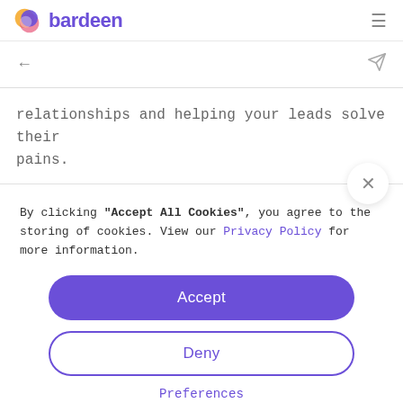[Figure (logo): Bardeen logo with colorful swirl icon and purple brand name text]
relationships and helping your leads solve their pains.
By clicking "Accept All Cookies", you agree to the storing of cookies. View our Privacy Policy for more information.
Accept
Deny
Preferences